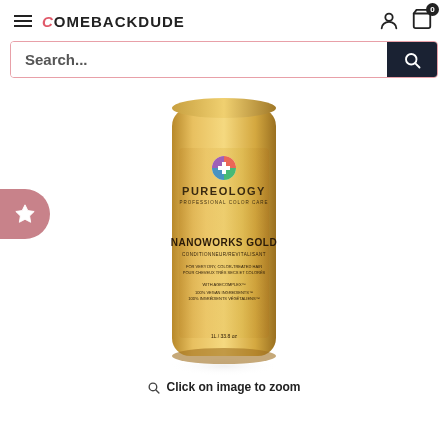COMEBACKDUDE
Search...
[Figure (photo): Gold cylindrical bottle of Pureology Nanoworks Gold Conditioner/Revitalisant with colorful logo, product details on label including 'FOR VERY DRY, COLOR-TREATED HAIR', 'WITH AGECOMPLEX', '100% VEGAN INGREDIENTS']
Click on image to zoom